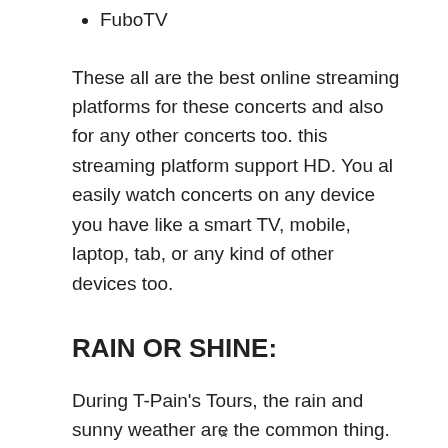FuboTV
These all are the best online streaming platforms for these concerts and also for any other concerts too. this streaming platform support HD. You al easily watch concerts on any device you have like a smart TV, mobile, laptop, tab, or any kind of other devices too.
RAIN OR SHINE:
During T-Pain's Tours, the rain and sunny weather are the common thing. Here are some tips if there is rainy then wear boots, ponchos, rubber duckies and take umbrellas with you. If there is sunny then wear sunglasses, and sunscreen and take water and pink
x